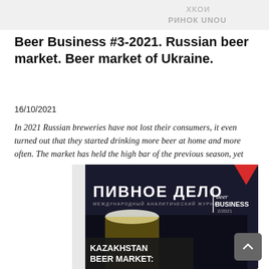[Figure (illustration): Partial top banner showing Cyrillic text and design element, cropped at top of page]
Beer Business #3-2021. Russian beer market. Beer market of Ukraine.
16/10/2021
In 2021 Russian breweries have not lost their consumers, it even turned out that they started drinking more beer at home and more often. The market has held the high bar of the previous season, yet now it is growing by value and polarizing by price segments. The competition in the market has been determined [...]...
[Figure (photo): Magazine cover of 'Пивное Дело / Beer Business 2/2021' showing the magazine title in Cyrillic and English, with text 'KAZAKHSTAN BEER MARKET:' visible at the bottom, a beer glass photo, and a red triangle logo element at top right.]